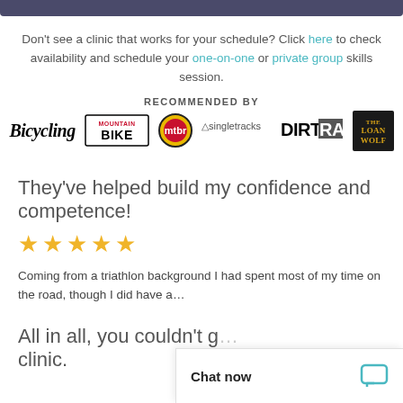[Figure (other): Dark navy/purple top bar]
Don't see a clinic that works for your schedule? Click here to check availability and schedule your one-on-one or private group skills session.
[Figure (other): Recommended By logos: Bicycling, Mountain Bike Action, mtbr, Singletracks, DirtRag, The Loan Wolf]
They've helped build my confidence and competence!
[Figure (other): Five gold stars rating]
Coming from a triathlon background I had spent most of my time on the road, though I did have a...
All in all, you couldn't g... clinic.
[Figure (other): Chat now overlay widget with speech bubble icon]